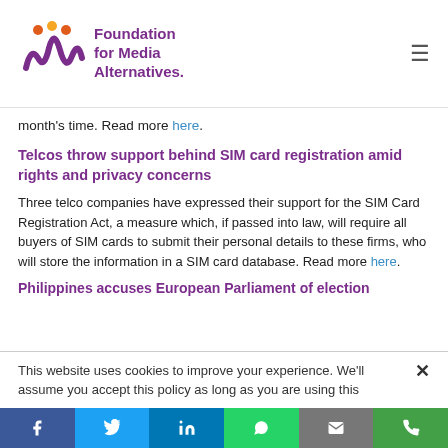Foundation for Media Alternatives
month's time. Read more here.
Telcos throw support behind SIM card registration amid rights and privacy concerns
Three telco companies have expressed their support for the SIM Card Registration Act, a measure which, if passed into law, will require all buyers of SIM cards to submit their personal details to these firms, who will store the information in a SIM card database. Read more here.
Philippines accuses European Parliament of election
This website uses cookies to improve your experience. We'll assume you accept this policy as long as you are using this